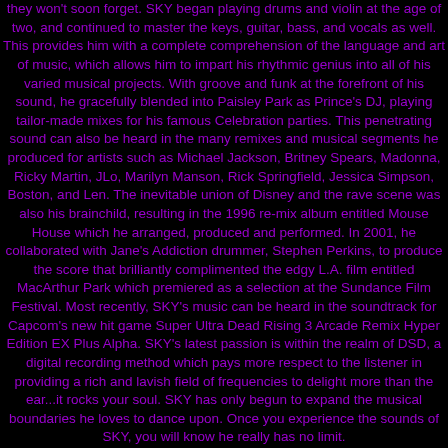they won't soon forget. SKY began playing drums and violin at the age of two, and continued to master the keys, guitar, bass, and vocals as well. This provides him with a complete comprehension of the language and art of music, which allows him to impart his rhythmic genius into all of his varied musical projects. With groove and funk at the forefront of his sound, he gracefully blended into Paisley Park as Prince's DJ, playing tailor-made mixes for his famous Celebration parties. This penetrating sound can also be heard in the many remixes and musical segments he produced for artists such as Michael Jackson, Britney Spears, Madonna, Ricky Martin, JLo, Marilyn Manson, Rick Springfield, Jessica Simpson, Boston, and Len. The inevitable union of Disney and the rave scene was also his brainchild, resulting in the 1996 re-mix album entitled Mouse House which he arranged, produced and performed. In 2001, he collaborated with Jane's Addiction drummer, Stephen Perkins, to produce the score that brilliantly complimented the edgy L.A. film entitled MacArthur Park which premiered as a selection at the Sundance Film Festival. Most recently, SKY's music can be heard in the soundtrack for Capcom's new hit game Super Ultra Dead Rising 3 Arcade Remix Hyper Edition EX Plus Alpha. SKY's latest passion is within the realm of DSD, a digital recording method which pays more respect to the listener in providing a rich and lavish field of frequencies to delight more than the ear...it rocks your soul. SKY has only begun to expand the musical boundaries he loves to dance upon. Once you experience the sounds of SKY, you will know he really has no limit.